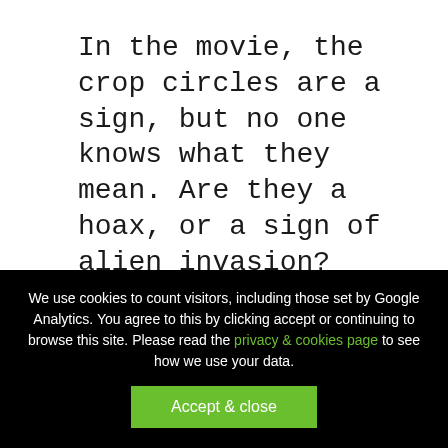In the movie, the crop circles are a sign, but no one knows what they mean. Are they a hoax, or a sign of alien invasion?
Signs are also things we interpret as coincidence, causality and consequence – for instance, when animals get spooked before a disaster. This is where the film sets out its stall.
We use cookies to count visitors, including those set by Google Analytics. You agree to this by clicking accept or continuing to browse this site. Please read the privacy & cookies page to see how we use your data.